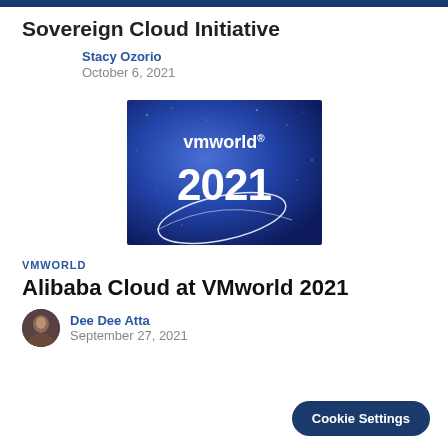Sovereign Cloud Initiative
Stacy Ozorio
October 6, 2021
[Figure (photo): VMworld 2021 logo on a blue starry background with orbital ring graphic]
VMworld
Alibaba Cloud at VMworld 2021
Dee Dee Atta
September 27, 2021
Cookie Settings